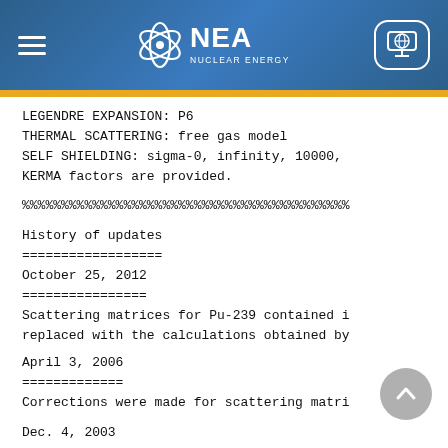NEA Nuclear Energy Agency
LEGENDRE EXPANSION: P6
THERMAL SCATTERING: free gas model
SELF SHIELDING: sigma-0, infinity, 10000,
KERMA factors are provided.

%%%%%%%%%%%%%%%%%%%%%%%%%%%%%%%%%%%%%%%%

History of updates
==================

October 25, 2012
================
Scattering matrices for Pu-239 contained i
replaced with the calculations obtained by

April 3, 2006
=============
Corrections were made for scattering matri

Dec. 4, 2003